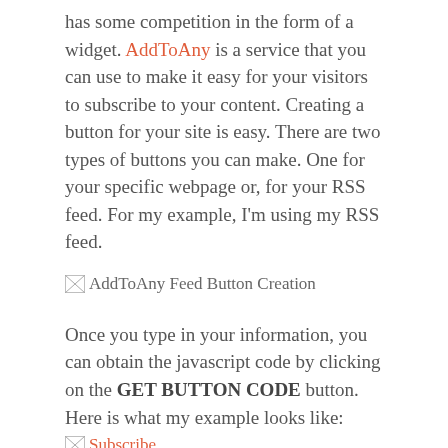has some competition in the form of a widget. AddToAny is a service that you can use to make it easy for your visitors to subscribe to your content. Creating a button for your site is easy. There are two types of buttons you can make. One for your specific webpage or, for your RSS feed. For my example, I'm using my RSS feed.
[Figure (screenshot): Broken image placeholder for AddToAny Feed Button Creation screenshot]
Once you type in your information, you can obtain the javascript code by clicking on the GET BUTTON CODE button. Here is what my example looks like:
[Figure (screenshot): Broken image placeholder showing Subscribe button]
Once of the cool things about this button is that when you hover over it, a big list of bookmarking